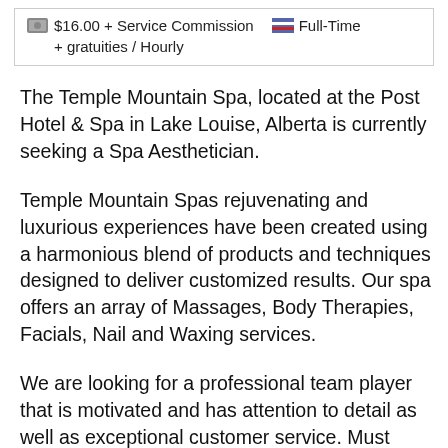$16.00 + Service Commission   Full-Time
+ gratuities / Hourly
The Temple Mountain Spa, located at the Post Hotel & Spa in Lake Louise, Alberta is currently seeking a Spa Aesthetician.
Temple Mountain Spas rejuvenating and luxurious experiences have been created using a harmonious blend of products and techniques designed to deliver customized results. Our spa offers an array of Massages, Body Therapies, Facials, Nail and Waxing services.
We are looking for a professional team player that is motivated and has attention to detail as well as exceptional customer service. Must have completed a recognized Esthetics Program and have current First Aid Certification. Swedish Massage, Hot Stone Massage and Aromatherapy Massage is an asset.
The 94-room Relais & Chteaux Post Hotel & Spa is located in the heart of Banff National park in the Canadian Rocky Mountains. Our Hotel has become well known beyond our borders for its consistent delivery of